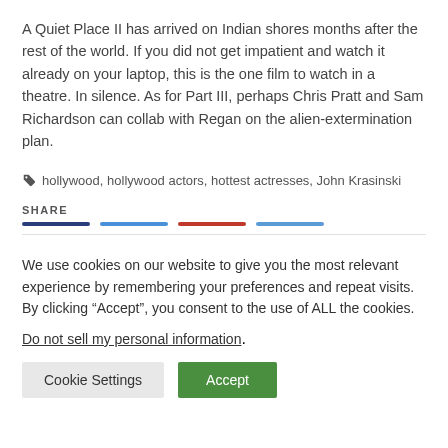A Quiet Place II has arrived on Indian shores months after the rest of the world. If you did not get impatient and watch it already on your laptop, this is the one film to watch in a theatre. In silence. As for Part III, perhaps Chris Pratt and Sam Richardson can collab with Regan on the alien-extermination plan.
hollywood, hollywood actors, hottest actresses, John Krasinski
SHARE
We use cookies on our website to give you the most relevant experience by remembering your preferences and repeat visits. By clicking “Accept”, you consent to the use of ALL the cookies.
Do not sell my personal information.